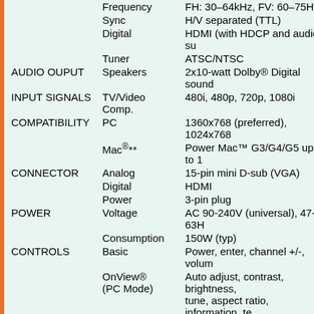| Category | Subcategory | Value |
| --- | --- | --- |
|  | Frequency | FH: 30-64kHz, FV: 60-75Hz |
|  | Sync | H/V separated (TTL) |
|  | Digital | HDMI (with HDCP and audio su |
|  | Tuner | ATSC/NTSC |
| AUDIO OUPUT | Speakers | 2x10-watt Dolby® Digital sound |
| INPUT SIGNALS | TV/Video Comp. | 480i, 480p, 720p, 1080i |
| COMPATIBILITY | PC | 1360x768 (preferred), 1024x768 |
|  | Mac®** | Power Mac™ G3/G4/G5 up to 1 |
| CONNECTOR | Analog | 15-pin mini D-sub (VGA) |
|  | Digital | HDMI |
|  | Power | 3-pin plug |
| POWER | Voltage | AC 90-240V (universal), 47-63H |
|  | Consumption | 150W (typ) |
| CONTROLS | Basic | Power, enter, channel +/-, volum |
|  | OnView® (PC Mode) | Auto adjust, contrast, brightness, tune, aspect ratio, information, te |
|  | (Video Mode) | Picture (contrast, brightness, col temperature), sound (volume, ba AV, S-video, YCbCr, YPbPr, HD change password, TV ratings, M disable), PIP (input, POP, mode set up (OSD H/V position), time language, memory recall) |
|  | (TV Mode) | MTS, TV/CATV, auto scan, set c |